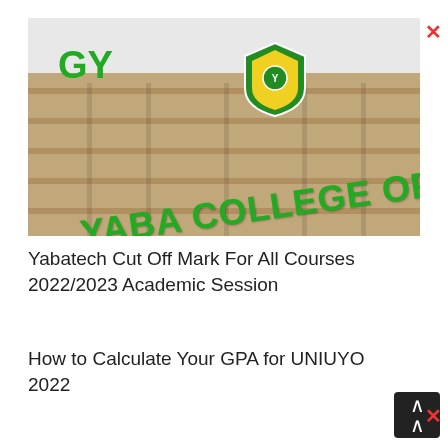[Figure (photo): Photograph of Yaba College of Technology building facade with green lettering 'YABA COLLEGE OF TECHNO...' and shield logo, partially cropped]
Yabatech Cut Off Mark For All Courses 2022/2023 Academic Session
How to Calculate Your GPA for UNIUYO 2022